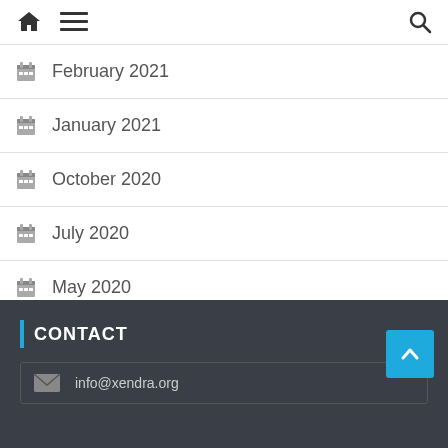Navigation bar with home icon, menu icon, and search icon
February 2021
January 2021
October 2020
July 2020
May 2020
CONTACT
info@xendra.org